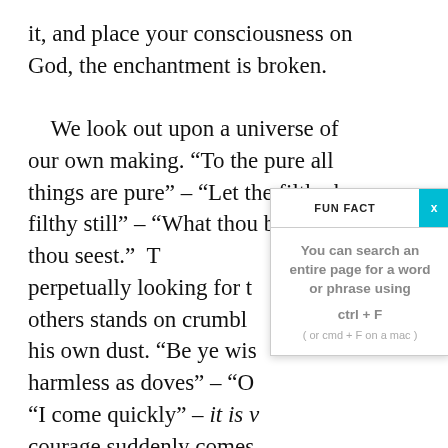it, and place your consciousness on God, the enchantment is broken.

    We look out upon a universe of our own making. “To the pure all things are pure” – “Let the filthy be filthy still” – “What thou be’st, that thou seest.”  T perpetually looking for t others stands on crumpl his own dust. “Be ye wis harmless as doves” – “O “I come quickly” – it is v courage suddenly comes fearless Believing, a Divi
[Figure (infographic): A popup tooltip box labeled 'FUN FACT' with a teal X button in the top right corner. The body text reads: 'You can search an entire page for a word or phrase using ctrl + F (or cmd + F on a mac)']